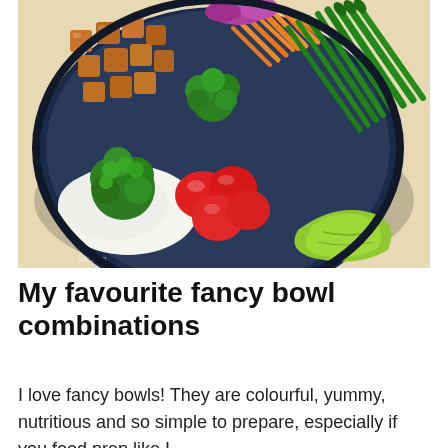[Figure (photo): Overhead photo of a colourful healthy bowl containing rice, roasted tofu cubes, cherry tomatoes, broccoli, shredded carrots, green beans, asparagus, lettuce, and other vegetables arranged in sections in a dark blue bowl on a light beige surface.]
My favourite fancy bowl combinations
I love fancy bowls! They are colourful, yummy, nutritious and so simple to prepare, especially if you food prep like I